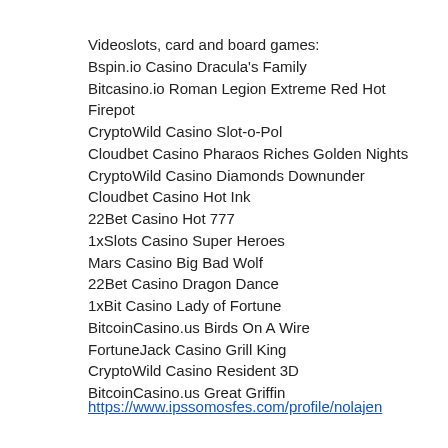Videoslots, card and board games:
Bspin.io Casino Dracula's Family
Bitcasino.io Roman Legion Extreme Red Hot Firepot
CryptoWild Casino Slot-o-Pol
Cloudbet Casino Pharaos Riches Golden Nights
CryptoWild Casino Diamonds Downunder
Cloudbet Casino Hot Ink
22Bet Casino Hot 777
1xSlots Casino Super Heroes
Mars Casino Big Bad Wolf
22Bet Casino Dragon Dance
1xBit Casino Lady of Fortune
BitcoinCasino.us Birds On A Wire
FortuneJack Casino Grill King
CryptoWild Casino Resident 3D
BitcoinCasino.us Great Griffin
https://www.ipssomosfes.com/profile/nolajen